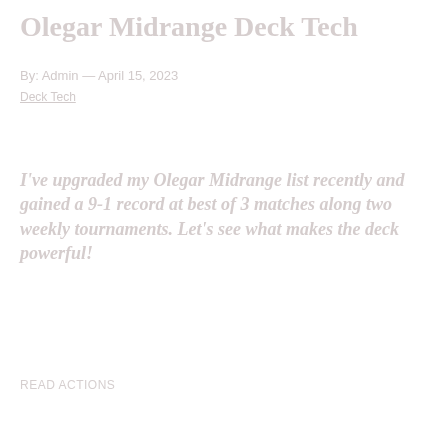Olegar Midrange Deck Tech
By: Admin — April 15, 2023
Deck Tech
I've upgraded my Olegar Midrange list recently and gained a 9-1 record at best of 3 matches along two weekly tournaments. Let's see what makes the deck powerful!
READ ACTIONS